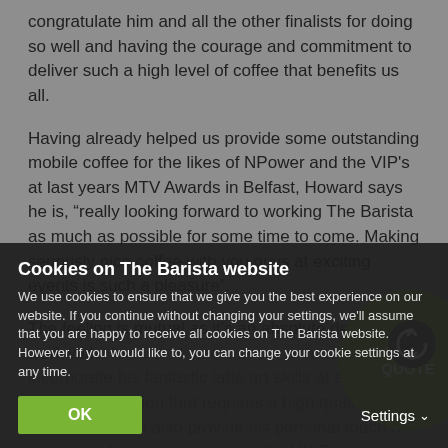congratulate him and all the other finalists for doing so well and having the courage and commitment to deliver such a high level of coffee that benefits us all.
Having already helped us provide some outstanding mobile coffee for the likes of NPower and the VIP's at last years MTV Awards in Belfast, Howard says he is, “really looking forward to working The Barista as much as possible for some time to come. Making seriously nice coffee with you guys at exciting events is such a pleasure”.
The feeling is mutual as it’s an absolute delight to work with Howard. His next event with us will incorporate his fantastic latte art skills at a corporate function that requires a high quality barista who can also provide his personal touch of Howard’s deserved success in the UK Barista Championships 2012. Well done Howard!
Cookies on The Barista website
We use cookies to ensure that we give you the best experience on our website. If you continue without changing your settings, we'll assume that you are happy to receive all cookies on The Barista website. However, if you would like to, you can change your cookie settings at any time.